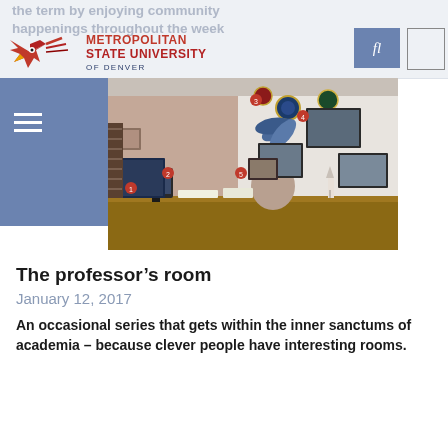the term by enjoying community happenings throughout the week
[Figure (logo): Metropolitan State University of Denver logo with eagle mascot]
[Figure (photo): A woman sitting at a desk in a professor's office, surrounded by NASA and space-themed memorabilia, photos, and patches on the walls.]
The professor’s room
January 12, 2017
An occasional series that gets within the inner sanctums of academia – because clever people have interesting rooms.